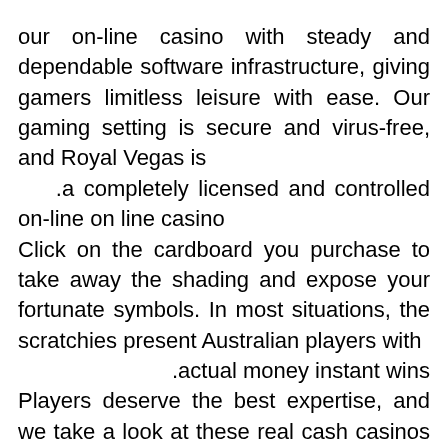our on-line casino with steady and dependable software infrastructure, giving gamers limitless leisure with ease. Our gaming setting is secure and virus-free, and Royal Vegas is a completely licensed and controlled on-line on line casino. Click on the cardboard you purchase to take away the shading and expose your fortunate symbols. In most situations, the scratchies present Australian players with actual money instant wins. Players deserve the best expertise, and we take a look at these real cash casinos by depositing money, taking half in the video games, and seeing how the withdrawal processes take place. It is a deposit bonus given to a punters deposit amount but has a restriction. To activate the bonus, players deposit a certain quantity to their accounts. When the reels stop, you need to find matching icons throughout the paylines to win huge. Periodically, wild and scatter symbols seem to boost your winnings on a matching